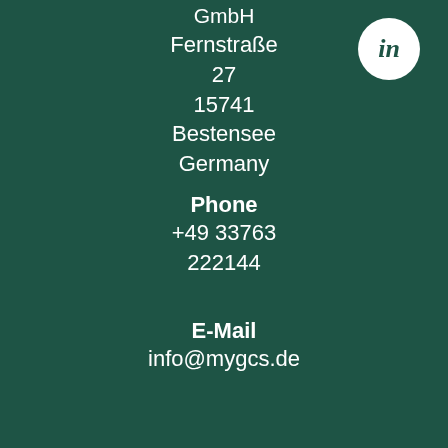[Figure (logo): LinkedIn icon in white circle on dark green background]
GmbH
Fernstraße
27
15741
Bestensee
Germany
Phone
+49 33763
222144
E-Mail
info@mygcs.de